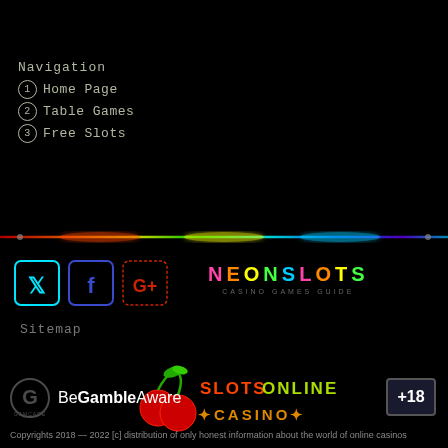Navigation
1 Home Page
2 Table Games
3 Free Slots
[Figure (illustration): Rainbow spectrum horizontal divider line across full width]
[Figure (logo): Social media icons: Twitter (cyan border), Facebook (blue border), Google+ (red border)]
[Figure (logo): NeonSlots Casino Games Guide logo with multicolor neon letters]
Sitemap
[Figure (logo): Slots Online Casino logo with neon cherry graphic and colorful lettering]
[Figure (logo): GamCare logo and BeGambleAware text, +18 badge]
Copyrights 2018 — 2022 [c] distribution of only honest information about the world of online casinos